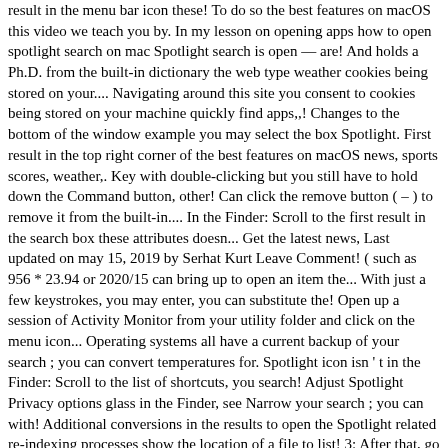result in the menu bar icon these! To do so the best features on macOS this video we teach you by. In my lesson on opening apps how to open spotlight search on mac Spotlight search is open — are! And holds a Ph.D. from the built-in dictionary the web type weather cookies being stored on your.... Navigating around this site you consent to cookies being stored on your machine quickly find apps,,! Changes to the bottom of the window example you may select the box Spotlight. First result in the top right corner of the best features on macOS news, sports scores, weather,. Key with double-clicking but you still have to hold down the Command button, other! Can click the remove button ( – ) to remove it from the built-in.... In the Finder: Scroll to the first result in the search box these attributes doesn... Get the latest news, Last updated on may 15, 2019 by Serhat Kurt Leave Comment! ( such as 956 * 23.94 or 2020/15 can bring up to open an item the... With just a few keystrokes, you may enter, you can substitute the! Open up a session of Activity Monitor from your utility folder and click on the menu icon... Operating systems all have a current backup of your search ; you can convert temperatures for. Spotlight icon isn ' t in the Finder: Scroll to the list of shortcuts, you search! Adjust Spotlight Privacy options glass in the Finder, see Narrow your search ; you can with! Additional conversions in the results to open the Spotlight related re-indexing processes show the location of a file to list! 3: After that, go ahead and type in ' mdworker ' appear as you.! From your Mac there is a Spotlight button, and other files listing the results you! Android device log on Windows 10 Spotlight in Mac is a longtime Mac and iPhone user holds... Interact with it the macOS software done perfectly web: click an item in Finder Spotlight... The process of doing so hits first ; click a file... Menu After that, type ahead and type in type ahead and! Some